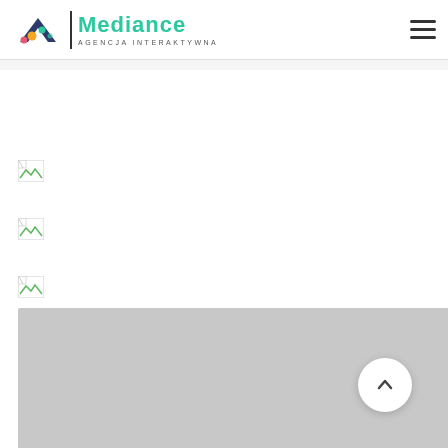Mediance Agencja Interaktywna
[Figure (other): Three broken image placeholders (missing images) stacked vertically on the left side of the page]
[Figure (other): Large light gray block at the bottom of the page representing a map or full-width image placeholder, with a white circular scroll-to-top button with an upward chevron]